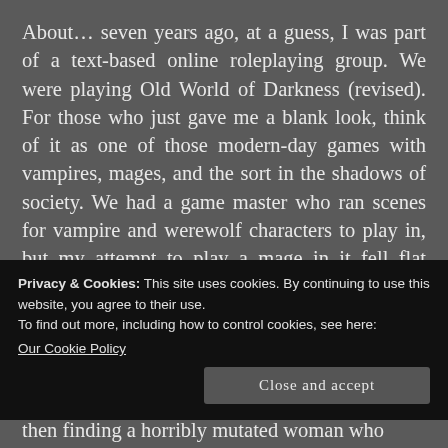About… seven years ago, at a guess, I was part of a text-based online roleplaying group. We were playing Old World of Darkness (revised). For those who just gave me a blank look, think of it as one of those modern-day games with vampires, mages, and the sort in the shadows of society. We had a game master who ran scenes for vampire and werewolf characters to play in, but my attempt to play a mage in it fell flat because he wasn't interested in running Mage. So, with determination in mind, I rolled up my sleeves and did it instead, running Mage for
Privacy & Cookies: This site uses cookies. By continuing to use this website, you agree to their use.
To find out more, including how to control cookies, see here:
Our Cookie Policy
Close and accept
then finding a horribly mutated woman who